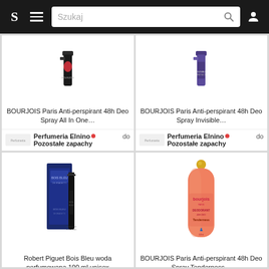S [hamburger menu] Szukaj [search icon] [user icon]
[Figure (photo): BOURJOIS Paris Anti-perspirant 48h Deo Spray All In One product bottle]
BOURJOIS Paris Anti-perspirant 48h Deo Spray All In One…
Perfumeria Elnino 🔴 do
Pozostałe zapachy
[Figure (photo): BOURJOIS Paris Anti-perspirant 48h Deo Spray Invisible product bottle]
BOURJOIS Paris Anti-perspirant 48h Deo Spray Invisible…
Perfumeria Elnino 🔴 do
Pozostałe zapachy
[Figure (photo): Robert Piguet Bois Bleu eau de parfum box and bottle]
Robert Piguet Bois Bleu woda perfumowana 100 ml unisex
E-Glamour.pl 🔴 do
Wody perfumowane unisex
[Figure (photo): BOURJOIS Paris Anti-perspirant 48h Deo Spray Tenderness product bottle]
BOURJOIS Paris Anti-perspirant 48h Deo Spray Tenderness…
Perfumeria Elnino 🔴 do
Pozostałe zapachy